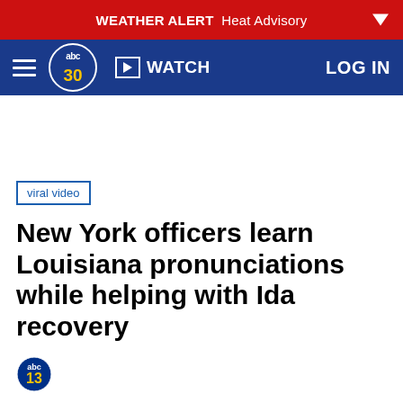WEATHER ALERT  Heat Advisory
[Figure (screenshot): ABC30 navigation bar with hamburger menu, ABC30 logo, WATCH button, and LOG IN link on dark blue background]
viral video
New York officers learn Louisiana pronunciations while helping with Ida recovery
[Figure (logo): ABC13 news logo at bottom]